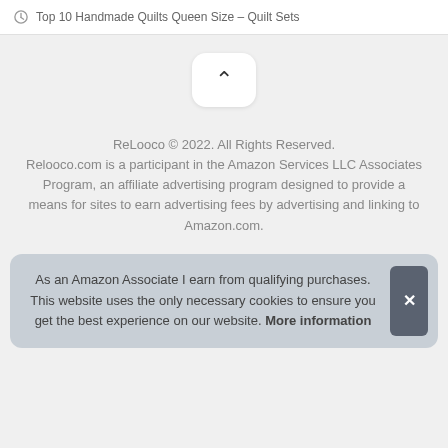Top 10 Handmade Quilts Queen Size – Quilt Sets
[Figure (other): Scroll-to-top button with upward chevron arrow on white rounded rectangle]
ReLooco © 2022. All Rights Reserved. Relooco.com is a participant in the Amazon Services LLC Associates Program, an affiliate advertising program designed to provide a means for sites to earn advertising fees by advertising and linking to Amazon.com.
As an Amazon Associate I earn from qualifying purchases. This website uses the only necessary cookies to ensure you get the best experience on our website. More information